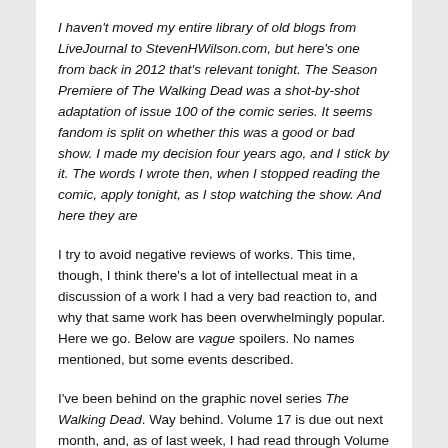I haven't moved my entire library of old blogs from LiveJournal to StevenHWilson.com, but here's one from back in 2012 that's relevant tonight. The Season Premiere of The Walking Dead was a shot-by-shot adaptation of issue 100 of the comic series. It seems fandom is split on whether this was a good or bad show. I made my decision four years ago, and I stick by it. The words I wrote then, when I stopped reading the comic, apply tonight, as I stop watching the show. And here they are
I try to avoid negative reviews of works. This time, though, I think there's a lot of intellectual meat in a discussion of a work I had a very bad reaction to, and why that same work has been overwhelmingly popular. Here we go. Below are vague spoilers. No names mentioned, but some events described.
I've been behind on the graphic novel series The Walking Dead. Way behind. Volume 17 is due out next month, and, as of last week, I had read through Volume 8. Ordinarily, I'd not say all or any of the previous volumes had merit for...